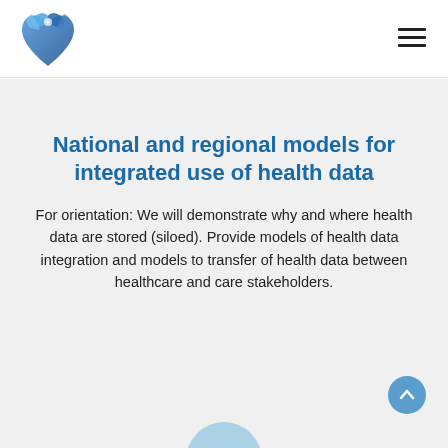Logo and navigation header
National and regional models for integrated use of health data
For orientation: We will demonstrate why and where health data are stored (siloed). Provide models of health data integration and models to transfer of health data between healthcare and care stakeholders.